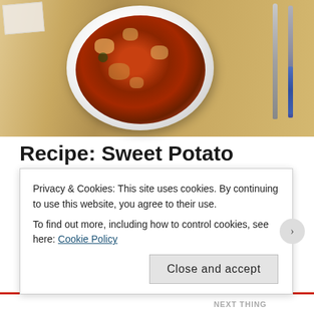[Figure (photo): A white bowl filled with sweet potato gnocchi in red tomato sauce with vegetables, placed on a wooden cutting board with a fork and knife to the right]
Recipe: Sweet Potato Gnocchi
PUBLISHED ON 22 June, 2016
I really think I might have a sweet potato addiction. Every
Privacy & Cookies: This site uses cookies. By continuing to use this website, you agree to their use.
To find out more, including how to control cookies, see here: Cookie Policy
Close and accept